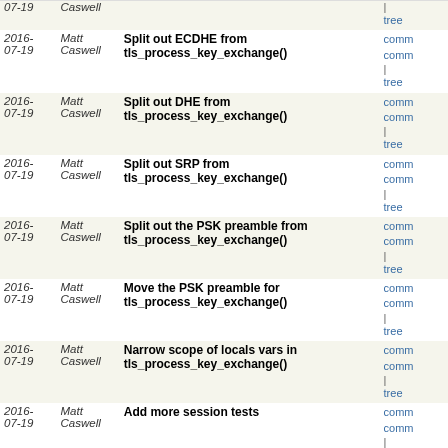| Date | Author | Message | Links |
| --- | --- | --- | --- |
| 2016-07-19 | Matt Caswell | Split out ECDHE from tls_process_key_exchange() | comm comm | tree |
| 2016-07-19 | Matt Caswell | Split out DHE from tls_process_key_exchange() | comm comm | tree |
| 2016-07-19 | Matt Caswell | Split out SRP from tls_process_key_exchange() | comm comm | tree |
| 2016-07-19 | Matt Caswell | Split out the PSK preamble from tls_process_key_exchange() | comm comm | tree |
| 2016-07-19 | Matt Caswell | Move the PSK preamble for tls_process_key_exchange() | comm comm | tree |
| 2016-07-19 | Matt Caswell | Narrow scope of locals vars in tls_process_key_exchange() | comm comm | tree |
| 2016-07-19 | Matt Caswell | Add more session tests | comm comm | tree |
| 2016-07-19 | Matt Caswell | Remove sessions from external cache, even if internal... | comm comm | tree |
| 2016-07-18 | Matt Caswell | Refactor Identity Hint handling | comm comm | tree |
| 2016-07-18 | Matt Caswell | Fix up error codes after splitting up tls_construct_key_exch... | comm comm | tree |
| 2016-07-18 | Matt Caswell | Some tidy ups after the CKE construction refactor | comm comm | tree |
| 2016-07-18 | Matt Caswell | Split out SRP CKE construction into a separate function | comm comm | tree |
next